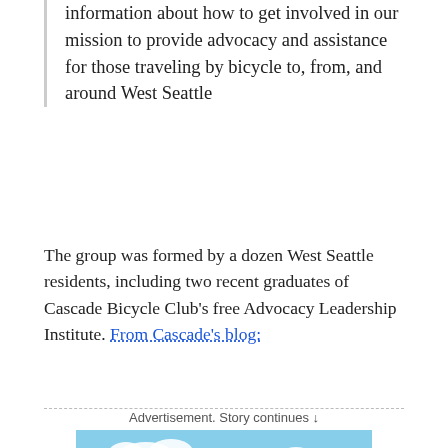information about how to get involved in our mission to provide advocacy and assistance for those traveling by bicycle to, from, and around West Seattle
The group was formed by a dozen West Seattle residents, including two recent graduates of Cascade Bicycle Club's free Advocacy Leadership Institute. From Cascade's blog:
Advertisement. Story continues ↓
[Figure (illustration): Illustrated advertisement for Move Redmond Open Streets Festival: Saturday 9/10, 11am-3pm, 161st Ave NE & Cleveland St. Colorful cartoon style with trees, a person, and blue sky.]